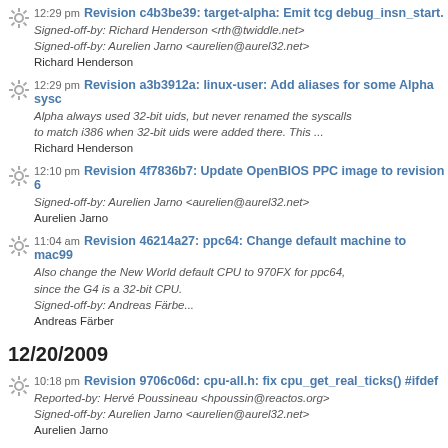12:29 pm Revision c4b3be39: target-alpha: Emit tcg debug_insn_start. Signed-off-by: Richard Henderson <rth@twiddle.net> Signed-off-by: Aurelien Jarno <aurelien@aurel32.net> Richard Henderson
12:29 pm Revision a3b3912a: linux-user: Add aliases for some Alpha sysc... Alpha always used 32-bit uids, but never renamed the syscalls to match i386 when 32-bit uids were added there. This ... Richard Henderson
12:10 pm Revision 4f7836b7: Update OpenBIOS PPC image to revision 6... Signed-off-by: Aurelien Jarno <aurelien@aurel32.net> Aurelien Jarno
11:04 am Revision 46214a27: ppc64: Change default machine to mac99 Also change the New World default CPU to 970FX for ppc64, since the G4 is a 32-bit CPU. Signed-off-by: Andreas Färbe... Andreas Färber
12/20/2009
10:18 pm Revision 9706c06d: cpu-all.h: fix cpu_get_real_ticks() #ifdef Reported-by: Hervé Poussineau <hpoussin@reactos.org> Signed-off-by: Aurelien Jarno <aurelien@aurel32.net> Aurelien Jarno
12/19/2009
10:49 pm Revision 935effc2: Multiboot support: Fix rom_copy ROMs need to be loaded if they are anywhere in the requested area, not only at the very beginning. This fixes Multibo...